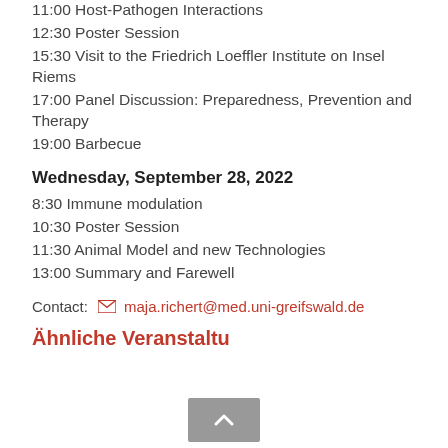11:00 Host-Pathogen Interactions
12:30 Poster Session
15:30 Visit to the Friedrich Loeffler Institute on Insel Riems
17:00 Panel Discussion: Preparedness, Prevention and Therapy
19:00 Barbecue
Wednesday, September 28, 2022
8:30 Immune modulation
10:30 Poster Session
11:30 Animal Model and new Technologies
13:00 Summary and Farewell
Contact: maja.richert@med.uni-greifswald.de
Ähnliche Veranstaltungen